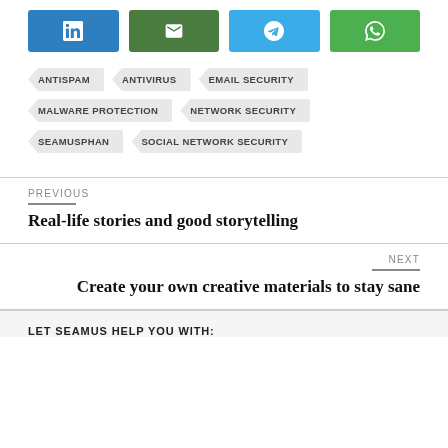[Figure (other): Social sharing buttons: LinkedIn (blue), Email (green), Telegram (blue), WhatsApp (green)]
ANTISPAM
ANTIVIRUS
EMAIL SECURITY
MALWARE PROTECTION
NETWORK SECURITY
SEAMUSPHAN
SOCIAL NETWORK SECURITY
PREVIOUS
Real-life stories and good storytelling
NEXT
Create your own creative materials to stay sane
LET SEAMUS HELP YOU WITH: